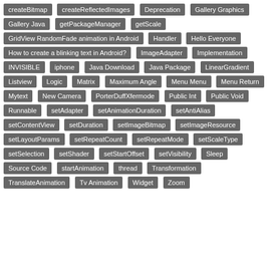createBitmap
createReflectedImages
Deprecation
Gallery Graphics
Gallery Java
getPackageManager
getScale
GridView RandomFade animation in Android
Handler
Hello Everyone
How to create a blinking text in Android?
ImageAdapter
Implementation
INVISIBLE
iphone
Java Download
Java Package
LinearGradient
Listview
Logic
Matrix
Maximum Angle
Menu Menu
Menu Return
Mytext
New Camera
PorterDuffXfermode
Public Int
Public Void
Runnable
setAdapter
setAnimationDuration
setAntiAlias
setContentView
setDuration
setImageBitmap
setImageResource
setLayoutParams
setRepeatCount
setRepeatMode
setScaleType
setSelection
setShader
setStartOffset
setVisibility
Sleep
Source Code
startAnimation
thread
Transformation
TranslateAnimation
Tv Animation
Widget
Zoom